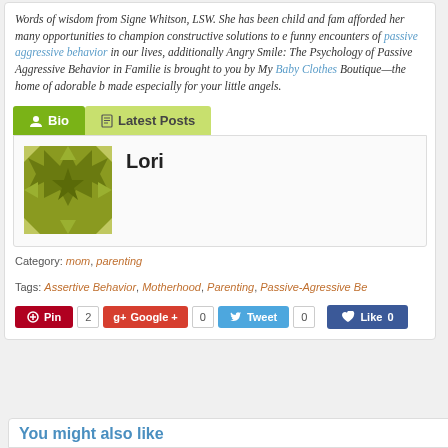Words of wisdom from Signe Whitson, LSW. She has been child and fam afforded her many opportunities to champion constructive solutions to e funny encounters of passive aggressive behavior in our lives, additionally Angry Smile: The Psychology of Passive Aggressive Behavior in Familie is brought to you by My Baby Clothes Boutique—the home of adorable b made especially for your little angels.
[Figure (screenshot): Bio and Latest Posts tabs with Lori avatar and name]
Category: mom, parenting
Tags: Assertive Behavior, Motherhood, Parenting, Passive-Agressive Be
[Figure (screenshot): Social sharing buttons: Pin (2), Google+ (0), Tweet (0), Like (0)]
You might also like